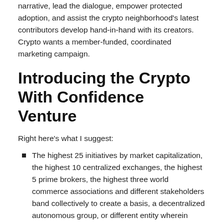narrative, lead the dialogue, empower protected adoption, and assist the crypto neighborhood's latest contributors develop hand-in-hand with its creators. Crypto wants a member-funded, coordinated marketing campaign.
Introducing the Crypto With Confidence Venture
Right here's what I suggest:
The highest 25 initiatives by market capitalization, the highest 10 centralized exchanges, the highest 5 prime brokers, the highest three world commerce associations and different stakeholders band collectively to create a basis, a decentralized autonomous group, or different entity wherein class client schooling is all it does to make sure